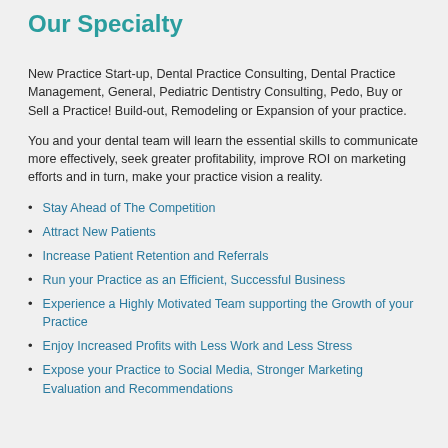Our Specialty
New Practice Start-up, Dental Practice Consulting, Dental Practice Management, General, Pediatric Dentistry Consulting, Pedo, Buy or Sell a Practice! Build-out, Remodeling or Expansion of your practice.
You and your dental team will learn the essential skills to communicate more effectively, seek greater profitability, improve ROI on marketing efforts and in turn, make your practice vision a reality.
Stay Ahead of The Competition
Attract New Patients
Increase Patient Retention and Referrals
Run your Practice as an Efficient, Successful Business
Experience a Highly Motivated Team supporting the Growth of your Practice
Enjoy Increased Profits with Less Work and Less Stress
Expose your Practice to Social Media, Stronger Marketing Evaluation and Recommendations